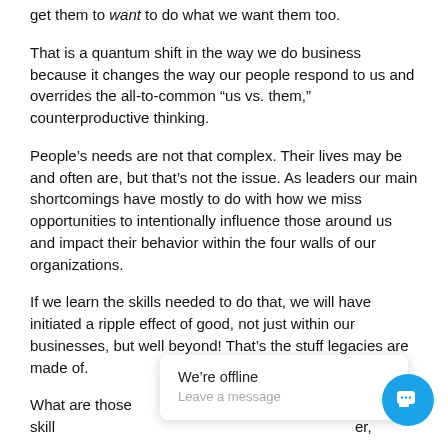get them to want to do what we want them too.
That is a quantum shift in the way we do business because it changes the way our people respond to us and overrides the all-to-common “us vs. them,” counterproductive thinking.
People’s needs are not that complex. Their lives may be and often are, but that’s not the issue. As leaders our main shortcomings have mostly to do with how we miss opportunities to intentionally influence those around us and impact their behavior within the four walls of our organizations.
If we learn the skills needed to do that, we will have initiated a ripple effect of good, not just within our businesses, but well beyond! That’s the stuff legacies are made of.
What are those skill                                              er,